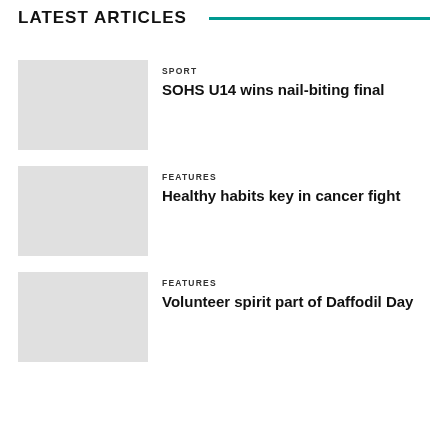LATEST ARTICLES
SPORT
SOHS U14 wins nail-biting final
FEATURES
Healthy habits key in cancer fight
FEATURES
Volunteer spirit part of Daffodil Day